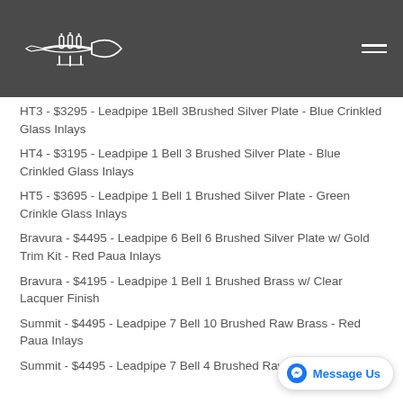Trumpet store website header with logo and hamburger menu
HT3 - $3295 - Leadpipe 1Bell 3Brushed Silver Plate - Blue Crinkled Glass Inlays
HT4 - $3195 - Leadpipe 1 Bell 3 Brushed Silver Plate - Blue Crinkled Glass Inlays
HT5 - $3695 - Leadpipe 1 Bell 1 Brushed Silver Plate - Green Crinkle Glass Inlays
Bravura - $4495 - Leadpipe 6 Bell 6 Brushed Silver Plate w/ Gold Trim Kit - Red Paua Inlays
Bravura - $4195 - Leadpipe 1 Bell 1 Brushed Brass w/ Clear Lacquer Finish
Summit - $4495 - Leadpipe 7 Bell 10 Brushed Raw Brass - Red Paua Inlays
Summit - $4495 - Leadpipe 7 Bell 4 Brushed Raw Brass -